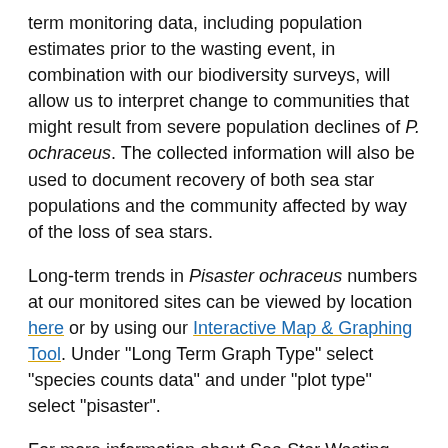term monitoring data, including population estimates prior to the wasting event, in combination with our biodiversity surveys, will allow us to interpret change to communities that might result from severe population declines of P. ochraceus. The collected information will also be used to document recovery of both sea star populations and the community affected by way of the loss of sea stars.
Long-term trends in Pisaster ochraceus numbers at our monitored sites can be viewed by location here or by using our Interactive Map & Graphing Tool. Under "Long Term Graph Type" select "species counts data" and under "plot type" select "pisaster".
For more information about Sea Star Wasting Disease, please click here:
Tracking and Documenting